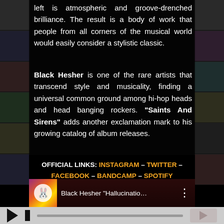left is atmospheric and groove-drenched brilliance. The result is a body of work that people from all corners of the musical world would easily consider a stylistic classic.
Black Hesher is one of the rare artists that transcend style and musicality, finding a universal common ground among hi-hop heads and head banging rockers. “Saints And Sirens” adds another exclamation mark to his growing catalog of album releases.
OFFICIAL LINKS: INSTAGRAM – TWITTER – FACEBOOK – BANDCAMP – SPOTIFY
[Figure (screenshot): YouTube video player thumbnail showing Black Hesher 'Hallucinatio...' with a bunny/clown figure and colorful background]
[Figure (screenshot): Audio/video player controls bar with play button, pause/stop icon, progress bar, and YouTube logo overlay]